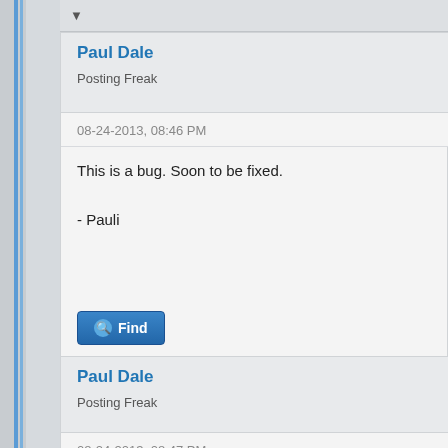▼
Paul Dale
Posting Freak
08-24-2013, 08:46 PM
This is a bug. Soon to be fixed.

- Pauli
Find
Paul Dale
Posting Freak
08-24-2013, 08:47 PM
The L part was very very early on before the command wa